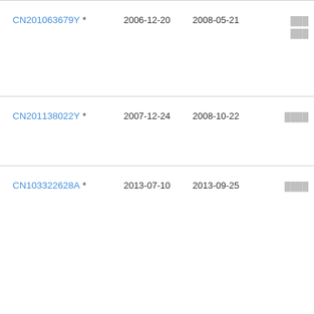| CN201063679Y * | 2006-12-20 | 2008-05-21 | ███ ███ |
| CN201138022Y * | 2007-12-24 | 2008-10-22 | ████ |
| CN103322628A * | 2013-07-10 | 2013-09-25 | ████ |